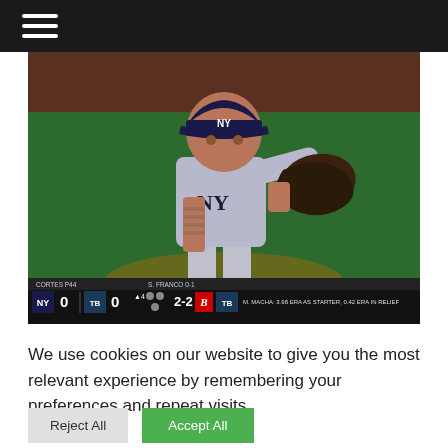Navigation menu (hamburger icon)
[Figure (photo): Baseball pitcher in New York Yankees away gray uniform holding glove up near face, mid-windup on pitcher's mound. TV broadcast scoreboard overlay at bottom showing NYY 0, TB 0, Top 4, 2-2 count, M. Macha stats.]
We use cookies on our website to give you the most relevant experience by remembering your preferences and repeat visits.
Reject All
Accept All